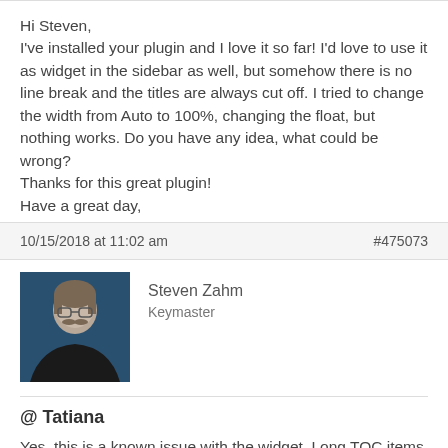Hi Steven,
I've installed your plugin and I love it so far! I'd love to use it as widget in the sidebar as well, but somehow there is no line break and the titles are always cut off. I tried to change the width from Auto to 100%, changing the float, but nothing works. Do you have any idea, what could be wrong?
Thanks for this great plugin!
Have a great day,
Tatiana
10/15/2018 at 11:02 am   #475073
Steven Zahm
Keymaster
@ Tatiana

Yes, this is a known issue with the widget. Long TOC items will be truncated. This is unfortunately necessary at this point in order to support the active